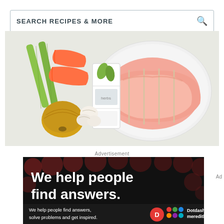SEARCH RECIPES & MORE
[Figure (photo): Overhead flat-lay of raw veal/pork roast tied with string on a white plate, surrounded by vegetables and herbs: celery stalks, carrots, bay leaves, dried herbs in a white tray, onion, and garlic cloves on a light background.]
Advertisement
[Figure (photo): Advertisement banner with dark background featuring large white bold text 'We help people find answers.' with dark red dot pattern. Bottom strip shows smaller text 'We help people find answers, solve problems and get inspired.' alongside a red D-badge and Dotdash Meredith logo.]